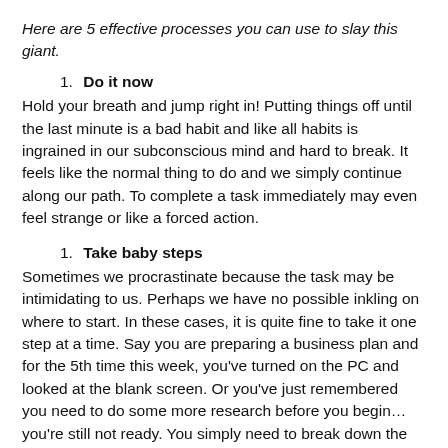Here are 5 effective processes you can use to slay this giant.
1. Do it now
Hold your breath and jump right in! Putting things off until the last minute is a bad habit and like all habits is ingrained in our subconscious mind and hard to break. It feels like the normal thing to do and we simply continue along our path. To complete a task immediately may even feel strange or like a forced action.
1. Take baby steps
Sometimes we procrastinate because the task may be intimidating to us. Perhaps we have no possible inkling on where to start. In these cases, it is quite fine to take it one step at a time. Say you are preparing a business plan and for the 5th time this week, you've turned on the PC and looked at the blank screen. Or you've just remembered you need to do some more research before you begin...you're still not ready. You simply need to break down the project into smaller